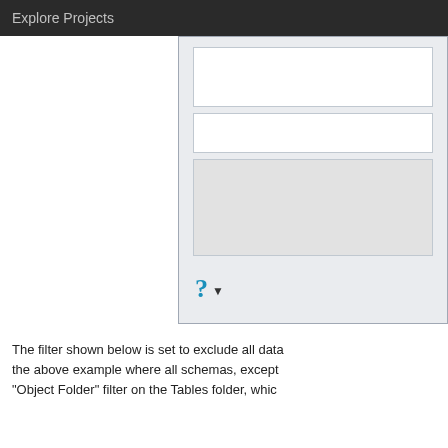Explore Projects
[Figure (screenshot): Partial view of a dialog window showing inner boxes, a grey panel and a question mark button with dropdown arrow]
The filter shown below is set to exclude all data the above example where all schemas, except "Object Folder" filter on the Tables folder, whic
[Figure (screenshot): Dialog window showing Filter tab active with General, Filter, Advanced tabs. Filter Schemas set to Exclude All, Include Filter Schemas section with text field containing 'aq*'. A nested blue dialog is partially visible in the bottom right.]